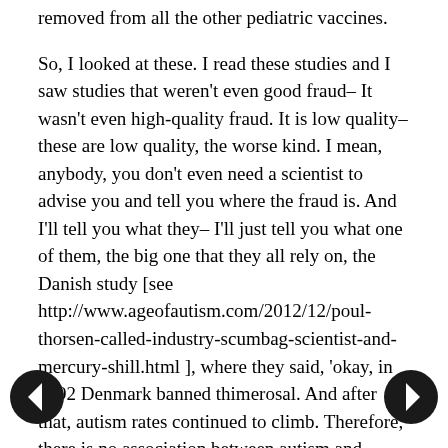removed from all the other pediatric vaccines.
So, I looked at these. I read these studies and I saw studies that weren't even good fraud– It wasn't even high-quality fraud. It is low quality– these are low quality, the worse kind. I mean, anybody, you don't even need a scientist to advise you and tell you where the fraud is. And I'll tell you what they– I'll just tell you what one of them, the big one that they all rely on, the Danish study [see http://www.ageofautism.com/2012/12/poul-thorsen-called-industry-scumbag-scientist-and-mercury-shill.html ], where they said, 'okay, in 1992 Denmark banned thimerosal. And after that, autism rates continued to climb. Therefore, there is no association between autism and thimerosal.' That's the study.